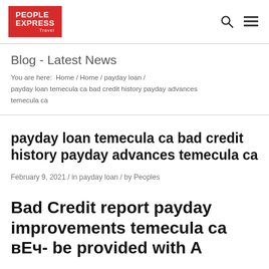PEOPLE EXPRESS Travel
Blog - Latest News
You are here:  Home / Home / payday loan / payday loan temecula ca bad credit history payday advances temecula ca
payday loan temecula ca bad credit history payday advances temecula ca
February 9, 2021  /  in payday loan  /  by Peoples
Bad Credit report payday improvements temecula ca вЕч- be provided with A